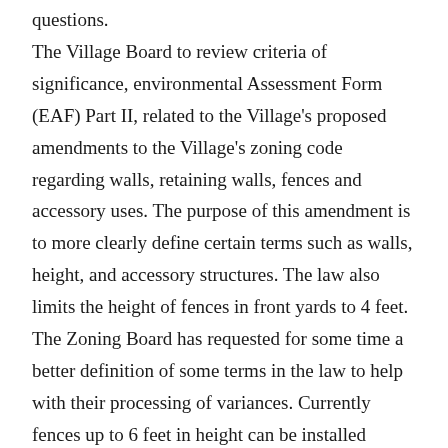questions. The Village Board to review criteria of significance, environmental Assessment Form (EAF) Part II, related to the Village's proposed amendments to the Village's zoning code regarding walls, retaining walls, fences and accessory uses. The purpose of this amendment is to more clearly define certain terms such as walls, height, and accessory structures. The law also limits the height of fences in front yards to 4 feet. The Zoning Board has requested for some time a better definition of some terms in the law to help with their processing of variances. Currently fences up to 6 feet in height can be installed anywhere on the lot and fences less than 25% solid (chain link, etc.) have no height restrictions other than the maximum height of an accessory building which is 15 feet. The proposed